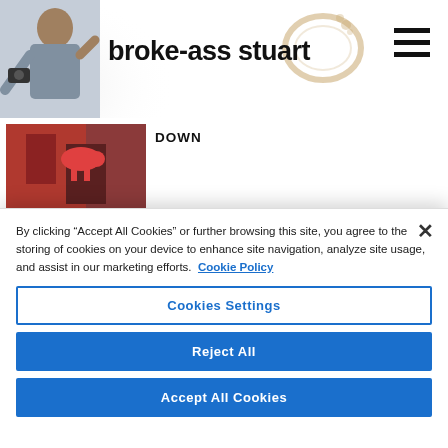broke-ass stuart
[Figure (screenshot): Broke-Ass Stuart website header with person image on left and site logo text in center, hamburger menu on right, coffee stain graphic]
DOWN
[Figure (photo): Article thumbnail showing red building with decorative cow sculpture]
I TOOK ACID AND WALKED
[Figure (photo): Article thumbnail with colorful gradient]
By clicking “Accept All Cookies” or further browsing this site, you agree to the storing of cookies on your device to enhance site navigation, analyze site usage, and assist in our marketing efforts.  Cookie Policy
Cookies Settings
Reject All
Accept All Cookies